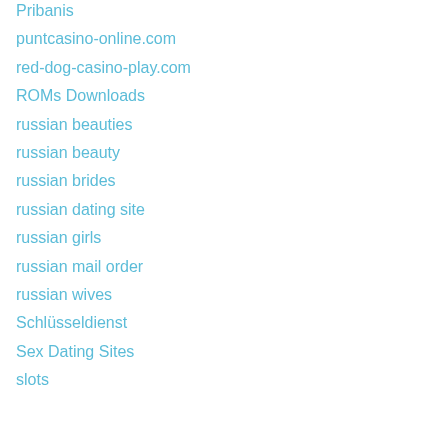Pribanis
puntcasino-online.com
red-dog-casino-play.com
ROMs Downloads
russian beauties
russian beauty
russian brides
russian dating site
russian girls
russian mail order
russian wives
Schlüsseldienst
Sex Dating Sites
slots